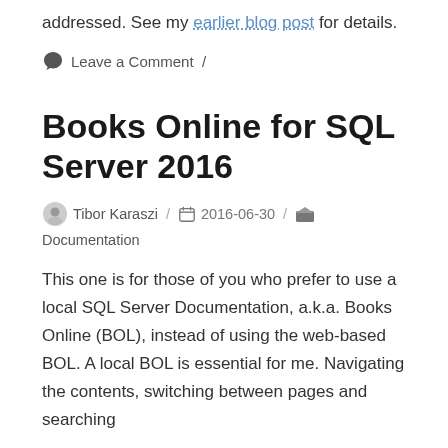addressed. See my earlier blog post for details.
Leave a Comment /
Books Online for SQL Server 2016
Tibor Karaszi / 2016-06-30 / Documentation
This one is for those of you who prefer to use a local SQL Server Documentation, a.k.a. Books Online (BOL), instead of using the web-based BOL. A local BOL is essential for me. Navigating the contents, switching between pages and searching